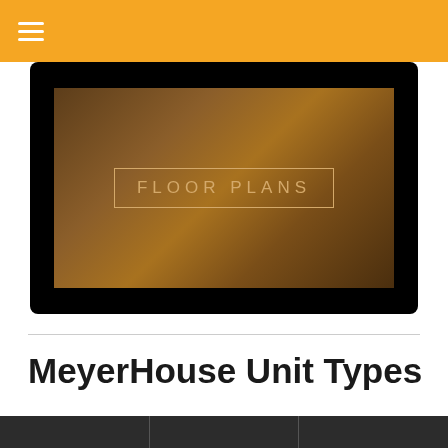≡
[Figure (photo): Dark brown textured background with the text 'FLOOR PLANS' in a rectangular border, displayed on a black rounded rectangle]
MeyerHouse Unit Types
[Figure (other): Three dark gray/charcoal tab buttons at the bottom of the page]